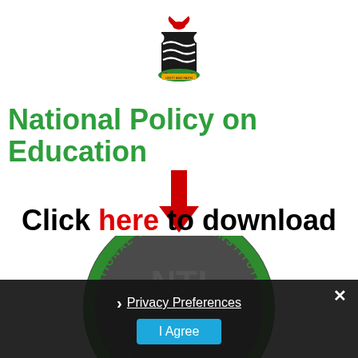[Figure (illustration): Nigerian coat of arms — two white horses flanking a black shield with white wavy lines, green and white wreath, red eagle on top, green base with red flowers]
National Policy on Education
[Figure (illustration): Large red downward-pointing arrow]
Click here to download
[Figure (logo): National Teachers' Institute (NTI) circular seal — green circle with text 'NATIONAL TEACHERS' INSTITUTE' and 'NTI' in center, 'KADUNA NIGERIA' at bottom]
Privacy Preferences
I Agree